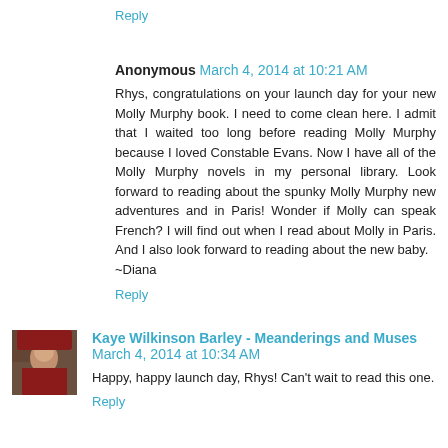Reply
Anonymous March 4, 2014 at 10:21 AM
Rhys, congratulations on your launch day for your new Molly Murphy book. I need to come clean here. I admit that I waited too long before reading Molly Murphy because I loved Constable Evans. Now I have all of the Molly Murphy novels in my personal library. Look forward to reading about the spunky Molly Murphy new adventures and in Paris! Wonder if Molly can speak French? I will find out when I read about Molly in Paris. And I also look forward to reading about the new baby.
~Diana
Reply
Kaye Wilkinson Barley - Meanderings and Muses March 4, 2014 at 10:34 AM
Happy, happy launch day, Rhys! Can't wait to read this one.
Reply